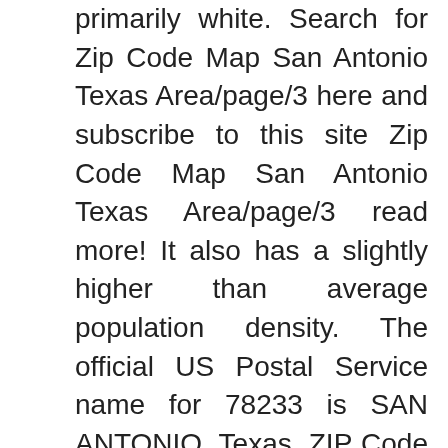primarily white. Search for Zip Code Map San Antonio Texas Area/page/3 here and subscribe to this site Zip Code Map San Antonio Texas Area/page/3 read more! It also has a slightly higher than average population density. The official US Postal Service name for 78233 is SAN ANTONIO, Texas. ZIP Code Boundary Data. Below are the zip codes for areas and communities in San Antonio, TX as well as the surrounding counties and communities.Just click on the zip code to search the homes that are currently for sale. San Antonio, TX . Load ZIP Code Map. San Antonio Zip Codes: 78201, 78202, 78203, 78204, 78205, 78206, 78207, 78208, 78209, 78210, 78211, 78212, 78213, 78214, 78215, 78216, 78217, 78218, 78219,